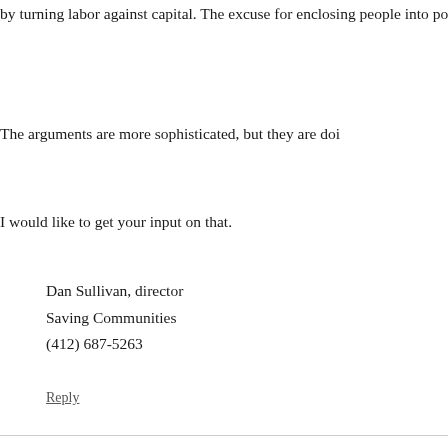by turning labor against capital. The excuse for enclosing people into poverty was environmental: “the preservati
The arguments are more sophisticated, but they are doi
I would like to get your input on that.
Dan Sullivan, director
Saving Communities
(412) 687-5263
Reply
Leave a Reply to Mario Barbafiera Cancel reply
Your email address will not be published. Required fields are m
Comment *